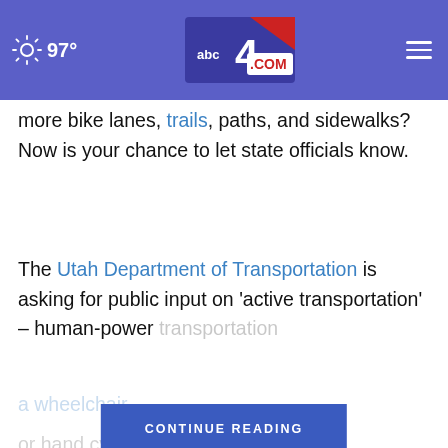97° abc4.com
more bike lanes, trails, paths, and sidewalks? Now is your chance to let state officials know.
The Utah Department of Transportation is asking for public input on 'active transportation' – human-power transportation... a wheelchair, or hand cycling... access to
[Figure (screenshot): CONTINUE READING button overlay in blue]
[Figure (photo): Close-up photo of a young man's face against dark background with X close button]
[Figure (infographic): Advertisement bar: Firestone Auto Care, Ashburn OPEN 7:30 AM-6PM, 43781 Parkhurst Plaza, Ashburn]